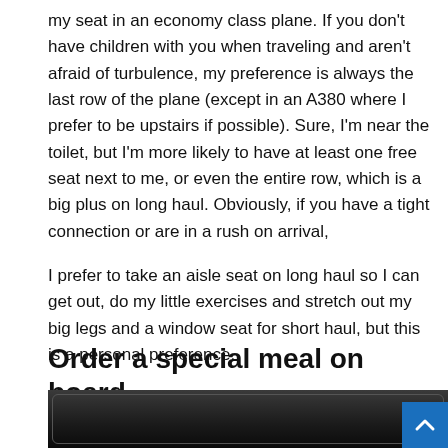my seat in an economy class plane. If you don't have children with you when traveling and aren't afraid of turbulence, my preference is always the last row of the plane (except in an A380 where I prefer to be upstairs if possible). Sure, I'm near the toilet, but I'm more likely to have at least one free seat next to me, or even the entire row, which is a big plus on long haul. Obviously, if you have a tight connection or are in a rush on arrival,

I prefer to take an aisle seat on long haul so I can get out, do my little exercises and stretch out my big legs and a window seat for short haul, but this is a personal preference.
Order a special meal on board
[Figure (photo): Partial photo of an airplane seat tray table or screen, dark background, partially visible]